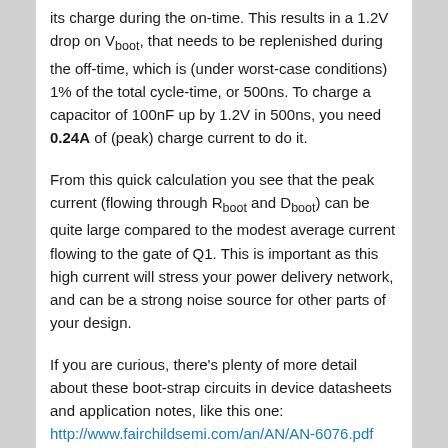its charge during the on-time. This results in a 1.2V drop on Vboot, that needs to be replenished during the off-time, which is (under worst-case conditions) 1% of the total cycle-time, or 500ns. To charge a capacitor of 100nF up by 1.2V in 500ns, you need 0.24A of (peak) charge current to do it.
From this quick calculation you see that the peak current (flowing through Rboot and Dboot) can be quite large compared to the modest average current flowing to the gate of Q1. This is important as this high current will stress your power delivery network, and can be a strong noise source for other parts of your design.
If you are curious, there's plenty of more detail about these boot-strap circuits in device datasheets and application notes, like this one: http://www.fairchildsemi.com/an/AN/AN-6076.pdf
Integrated drivers
We haven't talked much about that so far, but the fact is